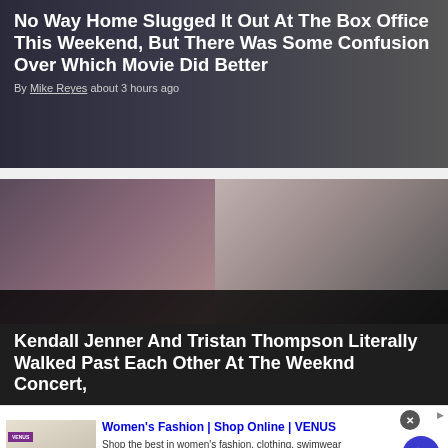No Way Home Slugged It Out At The Box Office This Weekend, But There Was Some Confusion Over Which Movie Did Better
By Mike Reyes about 3 hours ago
[Figure (photo): Two people side by side: a woman with dark hair on the left, a man on the right against a light background]
Kendall Jenner And Tristan Thompson Literally Walked Past Each Other At The Weeknd Concert,
[Figure (screenshot): Advertisement for Women's Fashion | Shop Online | VENUS with thumbnail showing summer sale, ad text and blue arrow button]